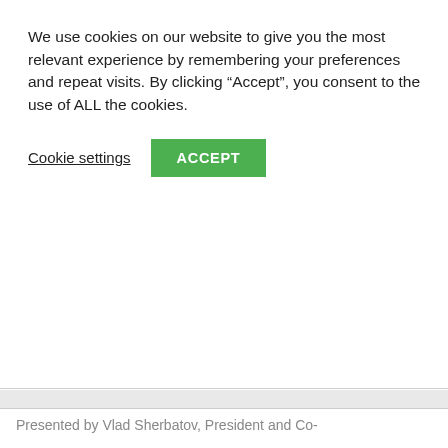We use cookies on our website to give you the most relevant experience by remembering your preferences and repeat visits. By clicking “Accept”, you consent to the use of ALL the cookies.
Cookie settings | ACCEPT
suburban sprawl, car culture, consumerism, and how all three have come together to make America a much worse place than it needs to be. Join this channel to get access to [...]
What is a minimum salary to get a loan? #shorts
In Other Country Loans
What is the minimum salary to get a loan?
Presented by Vlad Sherbatov, President and Co-